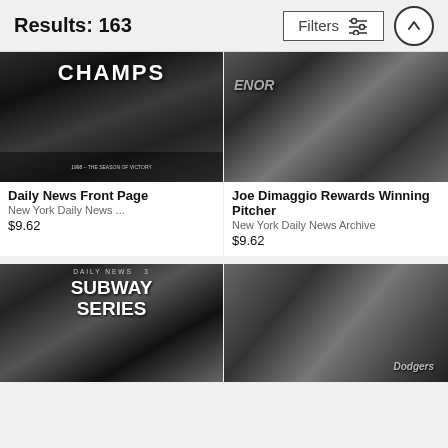Results: 163
[Figure (screenshot): Filter button with sliders icon and up-arrow circle button]
[Figure (photo): Black and white photo of baseball team celebrating, text CHAMPS visible at top, caption reads 1998 - THE SEASON OF VICTORY]
Daily News Front Page
New York Daily News ...
$9.62
[Figure (photo): Black and white photo of Joe Dimaggio with winning pitcher, players in baseball uniforms]
Joe Dimaggio Rewards Winning Pitcher
New York Daily News Archive
$9.62
[Figure (photo): Black and white newspaper front page showing DAILY NEWS SUBWAY SERIES headline with team photos]
[Figure (photo): Black and white photo of Dodgers players sitting together, wearing Dodgers uniforms with B caps]